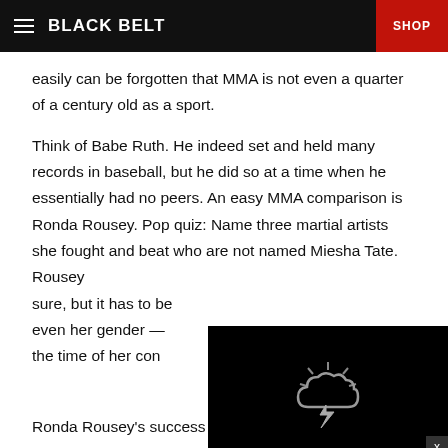BLACK BELT | SHOP
easily can be forgotten that MMA is not even a quarter of a century old as a sport.
Think of Babe Ruth. He indeed set and held many records in baseball, but he did so at a time when he essentially had no peers. An easy MMA comparison is Ronda Rousey. Pop quiz: Name three martial artists she fought and beat who are not named Miesha Tate. Rousey sure, but it has to be even her gender — the time of her con
[Figure (other): Dark video player overlay with a storm cloud and lightning bolt icon on a dark background, with an X close button.]
Ronda Rousey's success is being paralleled now by